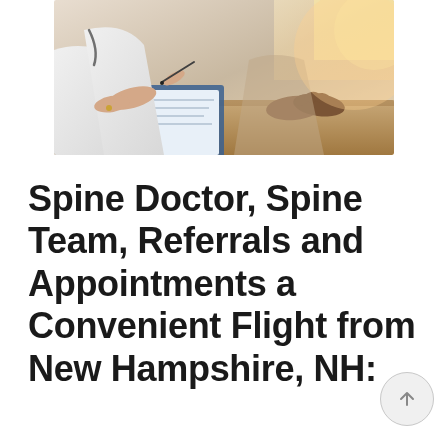[Figure (photo): A doctor in a white coat sitting across a desk from a patient, holding a pen over a document or notepad. The patient's hands are clasped on the table. Warm, clinical consultation setting.]
Spine Doctor, Spine Team, Referrals and Appointments a Convenient Flight from New Hampshire, NH: